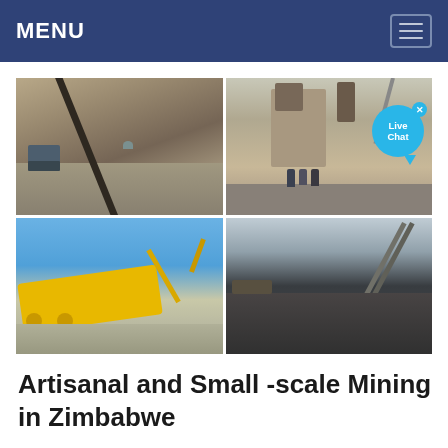MENU
[Figure (photo): Four-panel photo grid showing mining and quarrying equipment: top-left shows a conveyor belt and dump truck at a quarry; top-right shows an industrial crushing/processing plant with workers; bottom-left shows a yellow mobile crusher/excavator against blue sky; bottom-right shows a conveyor belt with dark aggregate material against mountain backdrop. A 'Live Chat' bubble overlay appears on top-right photo.]
Artisanal and Small -scale Mining in Zimbabwe